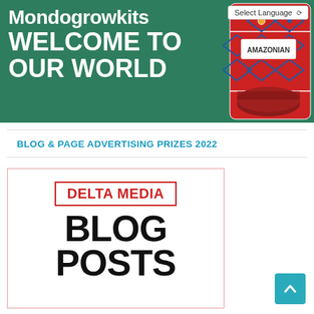[Figure (illustration): Mondogrowkits website banner with green background showing site name and welcome text on the left, and a decorative product package (AMAZONIAN) on the right. A language selector dropdown is visible in the top right corner.]
BLOG & PAGE ADVERTISING PRIZES 2022
[Figure (logo): Delta Media Blog Posts card with red border label DELTA MEDIA and large bold black text BLOG POSTS]